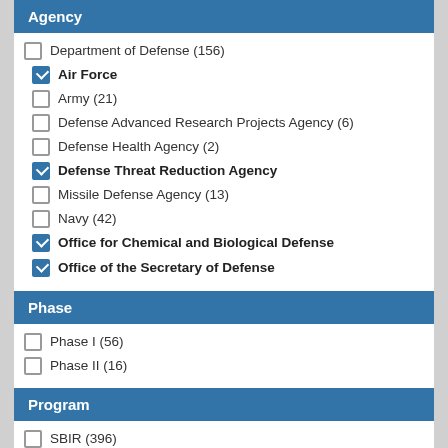Agency
Department of Defense (156)
Air Force [checked]
Army (21)
Defense Advanced Research Projects Agency (6)
Defense Health Agency (2)
Defense Threat Reduction Agency [checked]
Missile Defense Agency (13)
Navy (42)
Office for Chemical and Biological Defense [checked]
Office of the Secretary of Defense [checked, partially visible]
Phase
Phase I (56)
Phase II (16)
Program
SBIR (396)
[partially visible, checked]